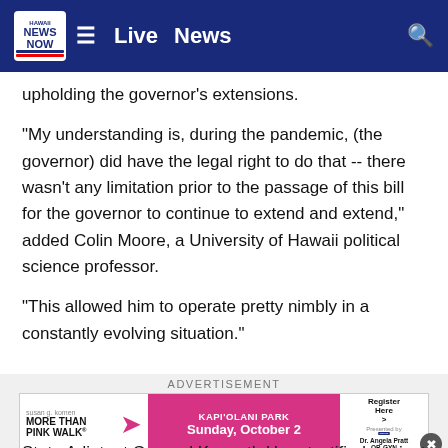Hawaii News Now — Live | News
upholding the governor's extensions.
“My understanding is, during the pandemic, (the governor) did have the legal right to do that -- there wasn’t any limitation prior to the passage of this bill for the governor to continue to extend and extend,” added Colin Moore, a University of Hawaii political science professor.
“This allowed him to operate pretty nimbly in a constantly evolving situation.”
ADVERTISEMENT
[Figure (other): Susan G. Komen More Than Pink Walk advertisement banner — KapiʻOlani Park, Sunday, October 2. Presented by Hawaii News Now. Dr. Angela Pratt, OB-GYN.]
State Adjutant General Kenneth Hara testified against